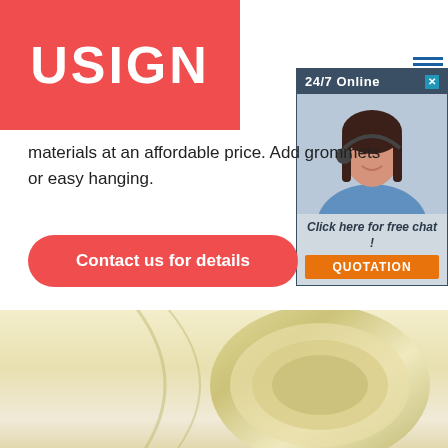USIGN
materials at an affordable price. Add grommets or easy hanging.
Contact us for details
[Figure (photo): Roll of cream/yellow vinyl banner material]
[Figure (infographic): Online chat ad widget with 24/7 Online text, customer service representative photo, 'Click here for free chat!' text, and QUOTATION button]